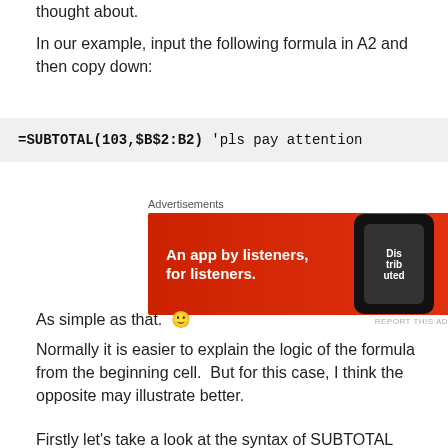thought about.
In our example, input the following formula in A2 and then copy down:
[Figure (other): Pocket Casts advertisement banner: 'An app by listeners, for listeners.' with phone image and Pocket Casts logo on red background]
As simple as that. 🙂
Normally it is easier to explain the logic of the formula from the beginning cell.  But for this case, I think the opposite may illustrate better.
Firstly let's take a look at the syntax of SUBTOTAL